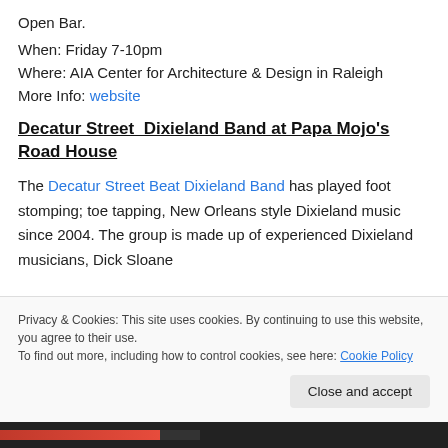Open Bar.
When: Friday 7-10pm
Where: AIA Center for Architecture & Design in Raleigh
More Info: website
Decatur Street  Dixieland Band at Papa Mojo's Road House
The Decatur Street Beat Dixieland Band has played foot stomping; toe tapping, New Orleans style Dixieland music since 2004. The group is made up of experienced Dixieland musicians, Dick Sloane
Privacy & Cookies: This site uses cookies. By continuing to use this website, you agree to their use.
To find out more, including how to control cookies, see here: Cookie Policy